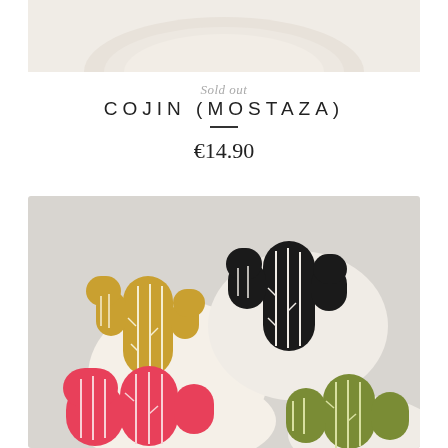[Figure (photo): Top portion of a cream/beige cojin (cushion) pillow product photo, showing the upper part of a mustard-colored cushion on white background]
Sold out
COJIN (MOSTAZA)
€14.90
[Figure (photo): Group of four cactus-shaped cushion pillows in different colors: mustard/yellow, black, pink/coral, and olive green, all with white stitch detail lines, arranged on a light grey background]